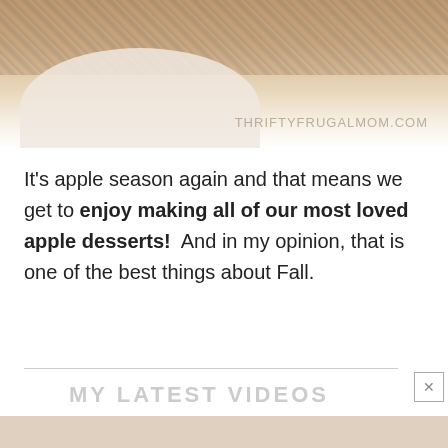[Figure (photo): Top portion of a white bowl containing apple dessert (crumble or crisp), with watermark text THRIFTYFRUGALMOM.COM overlaid in gray]
It's apple season again and that means we get to enjoy making all of our most loved apple desserts! And in my opinion, that is one of the best things about Fall.
MY LATEST VIDEOS